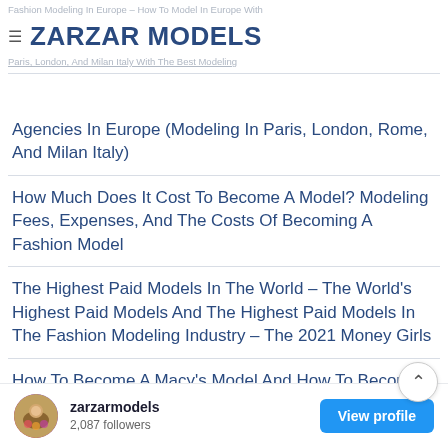Fashion Modeling In Europe – How To Model In Europe With Top Mo... odel In Paris, London, And Milan Italy With The Best Modeling
ZARZAR MODELS
Agencies In Europe (Modeling In Paris, London, Rome, And Milan Italy)
How Much Does It Cost To Become A Model? Modeling Fees, Expenses, And The Costs Of Becoming A Fashion Model
The Highest Paid Models In The World – The World's Highest Paid Models And The Highest Paid Models In The Fashion Modeling Industry – The 2021 Money Girls
How To Become A Macy's Model And How To Become A Macy's Model For Macy's Advertisements And Becoming A Macy's Model For Macy's Ads
[Figure (other): Instagram widget showing zarzarmodels account with 2,087 followers and a View profile button]